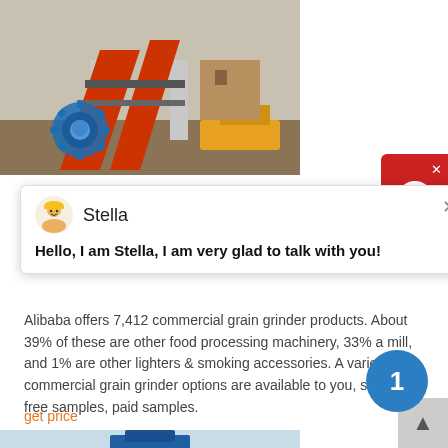[Figure (photo): Industrial grain/sand washing machine on a construction/mining site, red machinery with conveyor belts, gear icon overlay visible in bottom left of image]
Stella
Hello, I am Stella, I am very glad to talk with you!
Alibaba offers 7,412 commercial grain grinder products. About 39% of these are other food processing machinery, 33% a mill, and 1% are other lighters & smoking accessories. A variety of commercial grain grinder options are available to you, such as free samples, paid samples.
get price
[Figure (photo): Blue industrial machine/tower structure on a construction site against a light sky background]